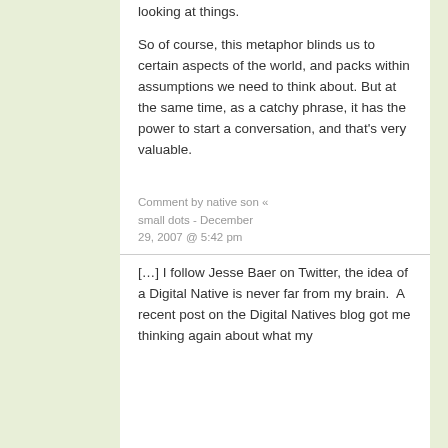looking at things.
So of course, this metaphor blinds us to certain aspects of the world, and packs within assumptions we need to think about. But at the same time, as a catchy phrase, it has the power to start a conversation, and that's very valuable.
Comment by native son « small dots - December 29, 2007 @ 5:42 pm
[…] I follow Jesse Baer on Twitter, the idea of a Digital Native is never far from my brain.  A recent post on the Digital Natives blog got me thinking again about what my